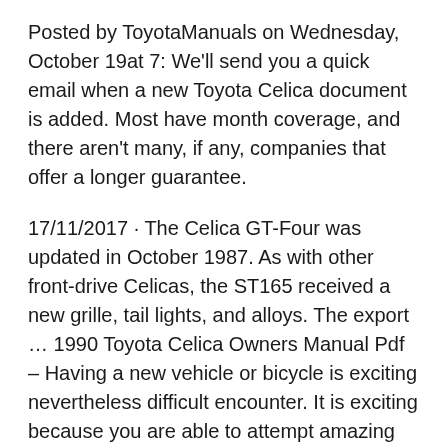Posted by ToyotaManuals on Wednesday, October 19at 7: We'll send you a quick email when a new Toyota Celica document is added. Most have month coverage, and there aren't many, if any, companies that offer a longer guarantee.
17/11/2017 · The Celica GT-Four was updated in October 1987. As with other front-drive Celicas, the ST165 received a new grille, tail lights, and alloys. The export … 1990 Toyota Celica Owners Manual Pdf – Having a new vehicle or bicycle is exciting nevertheless difficult encounter. It is exciting because you are able to attempt amazing issues along with your freshly purchased motor vehicle.